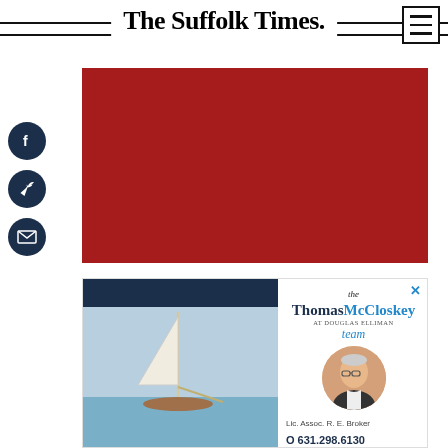The Suffolk Times.
[Figure (illustration): Red banner/advertisement placeholder block]
[Figure (infographic): Social share icons: Facebook, Twitter, Email]
[Figure (advertisement): The Thomas McCloskey Team at Douglas Elliman real estate advertisement with sailboat photo, headshot, contact info: Lic. Assoc. R. E. Broker, O 631.298.6130, M 516.680.0118]